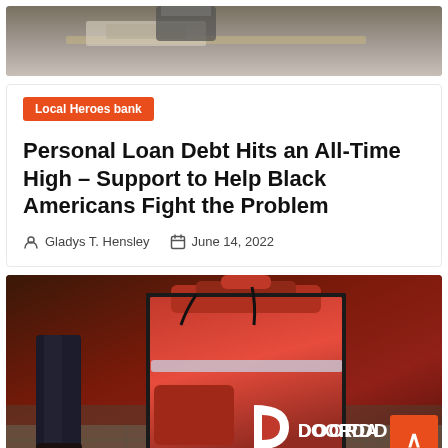[Figure (photo): Top portion of a photo showing a person at a desk with papers]
Local Heroes bank
Personal Loan Debt Hits an All-Time High – Support to Help Black Americans Fight the Problem
Gladys T. Hensley   June 14, 2022
[Figure (photo): DoorDash delivery bag with DoorDash logo, person standing in background]